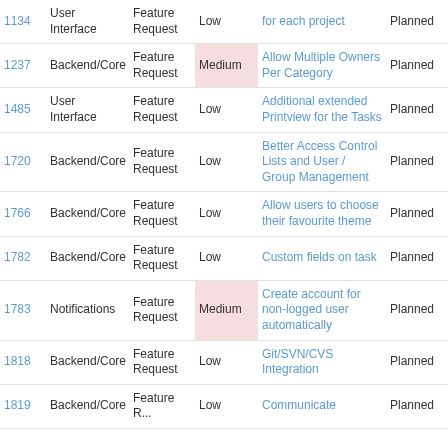| ID | Category | Type | Priority | Title | Status | % |
| --- | --- | --- | --- | --- | --- | --- |
| 1134 | User Interface | Feature Request | Low | for each project | Planned | 0% |
| 1237 | Backend/Core | Feature Request | Medium | Allow Multiple Owners Per Category | Planned | 0% |
| 1485 | User Interface | Feature Request | Low | Additional extended Printview for the Tasks | Planned | 0% |
| 1720 | Backend/Core | Feature Request | Low | Better Access Control Lists and User / Group Management | Planned | 0% |
| 1766 | Backend/Core | Feature Request | Low | Allow users to choose their favourite theme | Planned | 0% |
| 1782 | Backend/Core | Feature Request | Low | Custom fields on task | Planned | 0% |
| 1783 | Notifications | Feature Request | Medium | Create account for non-logged user automatically | Planned | 0% |
| 1818 | Backend/Core | Feature Request | Low | Git/SVN/CVS Integration | Planned | 0% |
| 1819 | Backend/Core | Feature Request | Low | Communicate... | Planned | 0% |